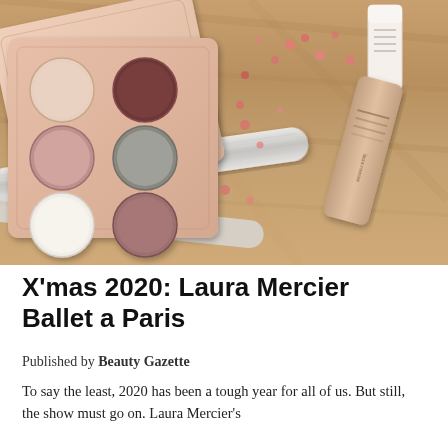[Figure (photo): Overhead flatlay photo of Laura Mercier Ballet a Paris holiday makeup collection on a wooden surface. Shows an open rose gold eyeshadow palette with 6 pans (nude, mauve, taupe, shimmer, pink, burgundy tones), two rose gold cosmetic tubes/products, a sparkly silver ribbon, and scattered pink sequins.]
X'mas 2020: Laura Mercier Ballet a Paris
Published by Beauty Gazette
To say the least, 2020 has been a tough year for all of us. But still, the show must go on. Laura Mercier's